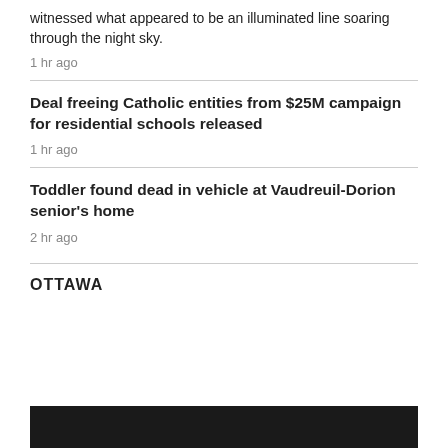witnessed what appeared to be an illuminated line soaring through the night sky.
1 hr ago
Deal freeing Catholic entities from $25M campaign for residential schools released
1 hr ago
Toddler found dead in vehicle at Vaudreuil-Dorion senior's home
2 hr ago
OTTAWA
[Figure (photo): Dark photo strip at bottom of page]